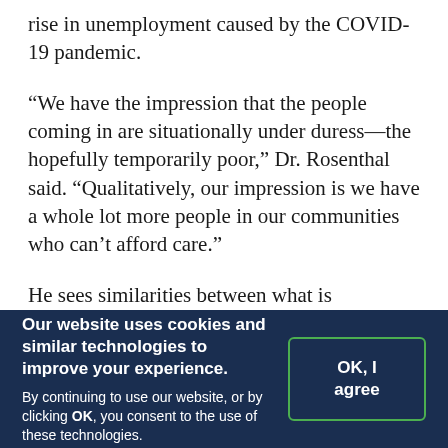rise in unemployment caused by the COVID-19 pandemic.
“We have the impression that the people coming in are situationally under duress—the hopefully temporarily poor,” Dr. Rosenthal said. “Qualitatively, our impression is we have a whole lot more people in our communities who can’t afford care.”
He sees similarities between what is happening now, as people continue to lose their jobs or are unable to find work, and what happened during the Great Recession.
Our website uses cookies and similar technologies to improve your experience. By continuing to use our website, or by clicking OK, you consent to the use of these technologies.